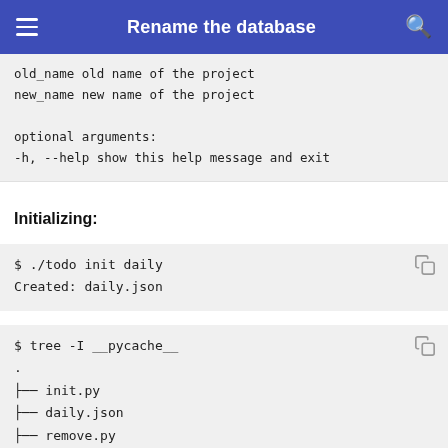Rename the database
old_name    old name of the project
new_name    new name of the project

optional arguments:
  -h, --help  show this help message and exit
Initializing:
$ ./todo init daily
Created:  daily.json
$ tree -I __pycache__
.
├── init.py
├── daily.json
├── remove.py
├── rename.py
└── todo